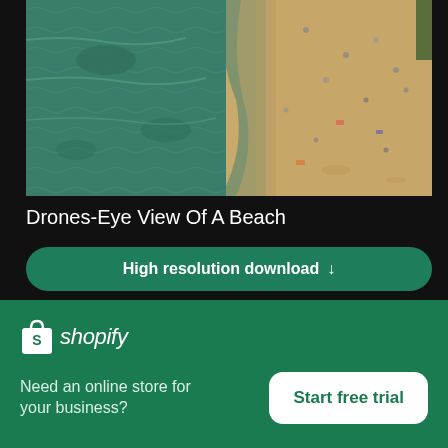[Figure (photo): Aerial drone view of a beach showing green ocean water on the left and sandy beach with people on the right]
Drones-Eye View Of A Beach
High resolution download ↓
[Figure (photo): Person with dark hair against blurred rocky/earthy background, partially visible]
[Figure (logo): Shopify logo - shopping bag icon with S and italic shopify text in white]
Need an online store for your business?
Start free trial